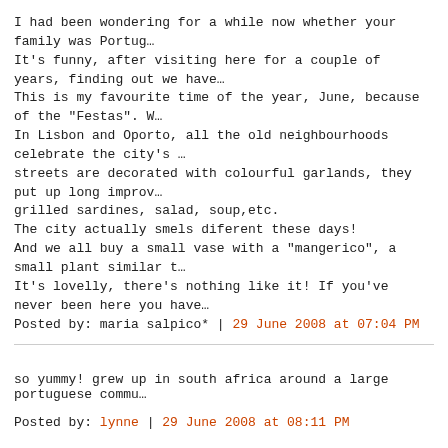I had been wondering for a while now whether your family was Portug…
It's funny, after visiting here for a couple of years, finding out we have…
This is my favourite time of the year, June, because of the "Festas". W… In Lisbon and Oporto, all the old neighbourhoods celebrate the city's … streets are decorated with colourful garlands, they put up long improv… grilled sardines, salad, soup,etc.
The city actually smels diferent these days!
And we all buy a small vase with a "mangerico", a small plant similar t…
It's lovelly, there's nothing like it! If you've never been here you have…
Posted by: maria salpico* | 29 June 2008 at 07:04 PM
so yummy! grew up in south africa around a large portuguese commu…
Posted by: lynne | 29 June 2008 at 08:11 PM